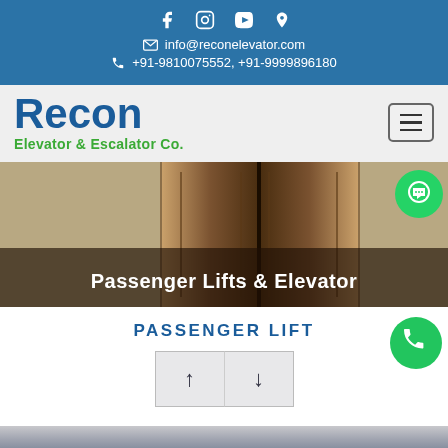Social icons: Facebook, Instagram, YouTube, Location
info@reconelevator.com
+91-9810075552, +91-9999896180
Recon Elevator & Escalator Co.
[Figure (screenshot): Hamburger menu button (three horizontal lines) in a bordered rectangle button]
[Figure (photo): Elevator door/panel photo showing bronze/brown metallic elevator doors, hero image]
Passenger Lifts & Elevator
PASSENGER LIFT
[Figure (other): Navigation arrows: up arrow and down arrow buttons for carousel]
[Figure (other): WhatsApp chat floating button (green circle with chat bubble icon)]
[Figure (other): WhatsApp phone floating button (green circle with phone icon)]